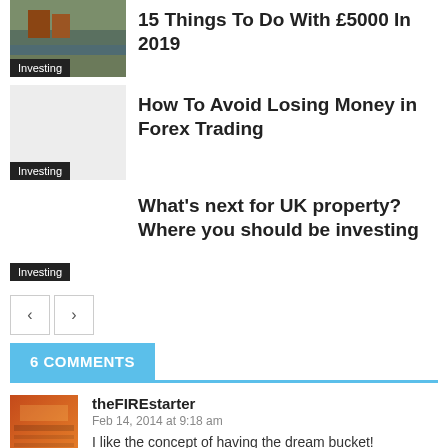[Figure (photo): Thumbnail image with lake/water scene and red building, labeled Investing]
15 Things To Do With £5000 In 2019
[Figure (photo): Light grey/blank thumbnail image labeled Investing]
How To Avoid Losing Money in Forex Trading
[Figure (photo): Blank white thumbnail image labeled Investing]
What's next for UK property? Where you should be investing
6 COMMENTS
theFIREstarter
Feb 14, 2014 at 9:18 am
I like the concept of having the dream bucket!